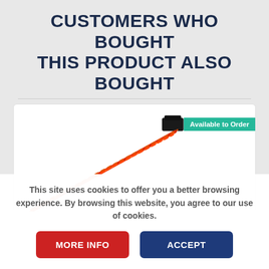CUSTOMERS WHO BOUGHT THIS PRODUCT ALSO BOUGHT
[Figure (photo): A servo extension cable with black connector and red/orange twisted wires, shown diagonally on white background. Green 'Available to Order' badge in top right corner.]
This site uses cookies to offer you a better browsing experience. By browsing this website, you agree to our use of cookies.
MORE INFO
ACCEPT